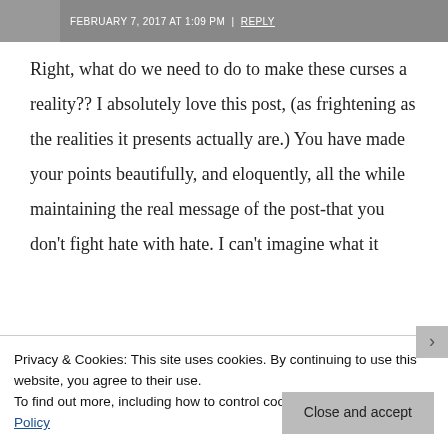FEBRUARY 7, 2017 AT 1:09 PM | REPLY
Right, what do we need to do to make these curses a reality?? I absolutely love this post, (as frightening as the realities it presents actually are.) You have made your points beautifully, and eloquently, all the while maintaining the real message of the post-that you don't fight hate with hate. I can't imagine what it
Privacy & Cookies: This site uses cookies. By continuing to use this website, you agree to their use.
To find out more, including how to control cookies, see here: Cookie Policy